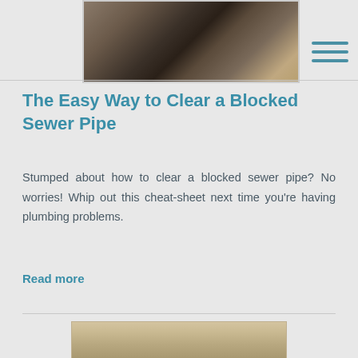[Figure (photo): A close-up photo of a blocked/corroded sewer pipe opening, showing dark interior with rust and grime]
The Easy Way to Clear a Blocked Sewer Pipe
Stumped about how to clear a blocked sewer pipe? No worries! Whip out this cheat-sheet next time you're having plumbing problems.
Read more
[Figure (photo): A partial photo of what appears to be a towel or cloth item, beige/tan colored]